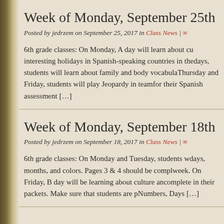Week of Monday, September 25th
Posted by jedrzem on September 25, 2017 in Class News | ∞
6th grade classes: On Monday, A day will learn about cu... interesting holidays in Spanish-speaking countries in the... days, students will learn about family and body vocabula... Thursday and Friday, students will play Jeopardy in team... for their Spanish assessment [...]
Week of Monday, September 18th
Posted by jedrzem on September 18, 2017 in Class News | ∞
6th grade classes: On Monday and Tuesday, students w... days, months, and colors. Pages 3 & 4 should be compl... week. On Friday, B day will be learning about culture an... complete in their packets. Make sure that students are p... Numbers, Days [...]